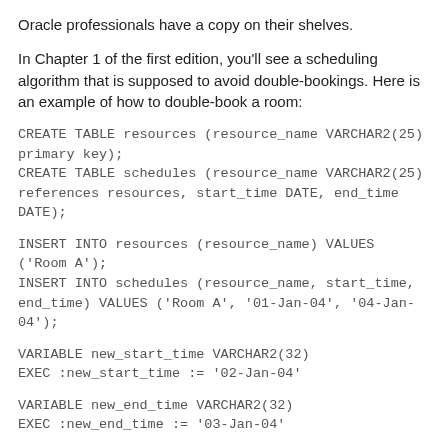Oracle professionals have a copy on their shelves.
In Chapter 1 of the first edition, you'll see a scheduling algorithm that is supposed to avoid double-bookings. Here is an example of how to double-book a room:
CREATE TABLE resources (resource_name VARCHAR2(25) primary key);
CREATE TABLE schedules (resource_name VARCHAR2(25) references resources, start_time DATE, end_time DATE);
INSERT INTO resources (resource_name) VALUES ('Room A');
INSERT INTO schedules (resource_name, start_time, end_time) VALUES ('Room A', '01-Jan-04', '04-Jan-04');
VARIABLE new_start_time VARCHAR2(32)
EXEC :new_start_time := '02-Jan-04'
VARIABLE new_end_time VARCHAR2(32)
EXEC :new_end_time := '03-Jan-04'